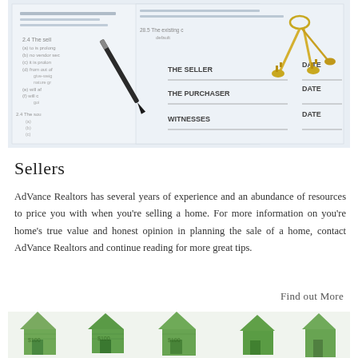[Figure (photo): Real estate contract document with a pen resting on it and a set of house keys on top. The document shows signature lines for THE SELLER, THE PURCHASER, and WITNESSES, each with DATE fields.]
Sellers
AdVance Realtors has several years of experience and an abundance of resources to price you with when you’re selling a home. For more information on you’re home’s true value and honest opinion in planning the sale of a home, contact AdVance Realtors and continue reading for more great tips.
Find out More
[Figure (photo): Row of house-shaped figures folded from US dollar bills ($100 bills), representing real estate investment or home values. Multiple money-houses visible in a row.]